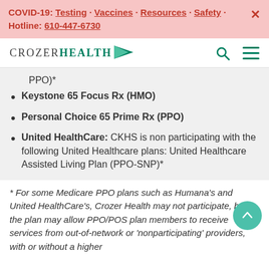COVID-19: Testing · Vaccines · Resources · Safety · Hotline: 610-447-6730
[Figure (logo): CrozerHealth logo with green arrow and navigation icons (search, hamburger menu)]
PPO)*
Keystone 65 Focus Rx (HMO)
Personal Choice 65 Prime Rx (PPO)
United HealthCare: CKHS is non participating with the following United Healthcare plans: United Healthcare Assisted Living Plan (PPO-SNP)*
* For some Medicare PPO plans such as Humana's and United HealthCare's, Crozer Health may not participate, but the plan may allow PPO/POS plan members to receive services from out-of-network or 'nonparticipating' providers, with or without a higher